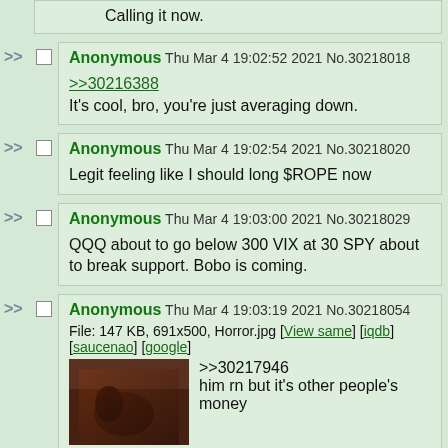Calling it now.
Anonymous Thu Mar 4 19:02:52 2021 No.30218018
>>30216388
It's cool, bro, you're just averaging down.
Anonymous Thu Mar 4 19:02:54 2021 No.30218020
Legit feeling like I should long $ROPE now
Anonymous Thu Mar 4 19:03:00 2021 No.30218029
QQQ about to go below 300 VIX at 30 SPY about to break support. Bobo is coming.
Anonymous Thu Mar 4 19:03:19 2021 No.30218054
File: 147 KB, 691x500, Horror.jpg [View same] [iqdb] [saucenao] [google]
>>30217946
him rn but it's other people's money